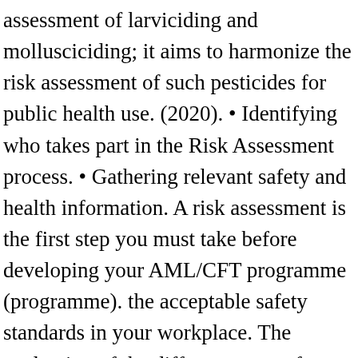assessment of larviciding and mollusciciding; it aims to harmonize the risk assessment of such pesticides for public health use. (2020). • Identifying who takes part in the Risk Assessment process. • Gathering relevant safety and health information. A risk assessment is the first step you must take before developing your AML/CFT programme (programme). the acceptable safety standards in your workplace. The evaluation of the different types of aircraft disinsection products against the risk assessment model is presented in Part B. 3.4 Risk assessment 12 3.5 Risk control 12